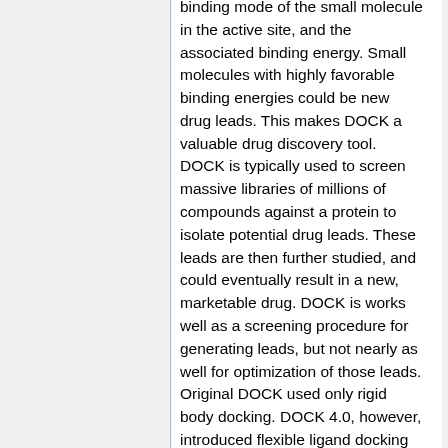binding mode of the small molecule in the active site, and the associated binding energy. Small molecules with highly favorable binding energies could be new drug leads. This makes DOCK a valuable drug discovery tool. DOCK is typically used to screen massive libraries of millions of compounds against a protein to isolate potential drug leads. These leads are then further studied, and could eventually result in a new, marketable drug. DOCK is works well as a screening procedure for generating leads, but not nearly as well for optimization of those leads. Original DOCK used only rigid body docking. DOCK 4.0, however, introduced flexible ligand docking by either a)incremental construction or b)random search.
Incremental construction (aka anchor